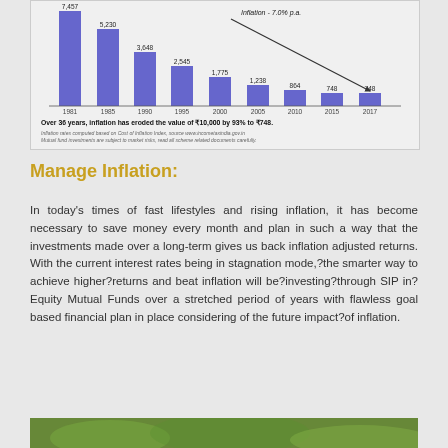[Figure (bar-chart): Bar chart showing inflation eroding value of Rs10,000 by 93% to Rs748 over 36 years. Caption: Over 36 years, inflation has eroded the value of Rs10,000 by 93% to Rs748.]
Manage Inflation:
In today's times of fast lifestyles and rising inflation, it has become necessary to save money every month and plan in such a way that the investments made over a long-term gives us back inflation adjusted returns. With the current interest rates being in stagnation mode,?the smarter way to achieve higher?returns and beat inflation will be?investing?through SIP in?Equity Mutual Funds over a stretched period of years with flawless goal based financial plan in place considering of the future impact?of inflation.
[Figure (photo): Partial photo visible at bottom of page, green/nature background]